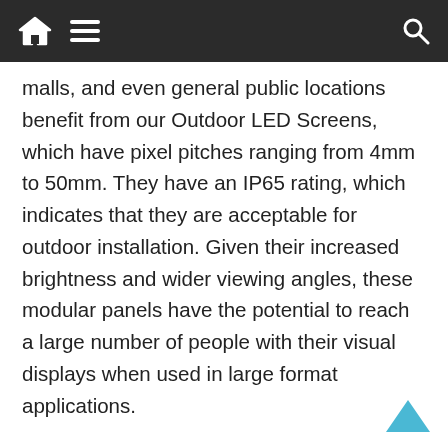Home | Menu | Search
malls, and even general public locations benefit from our Outdoor LED Screens, which have pixel pitches ranging from 4mm to 50mm. They have an IP65 rating, which indicates that they are acceptable for outdoor installation. Given their increased brightness and wider viewing angles, these modular panels have the potential to reach a large number of people with their visual displays when used in large format applications.
Outdoor LED screen technology can be use for a variety of applications other than large-format screens. Additionally, LED perimeter systems are becoming increasingly popular, with Pro Display providing these powerful advertising tools to a